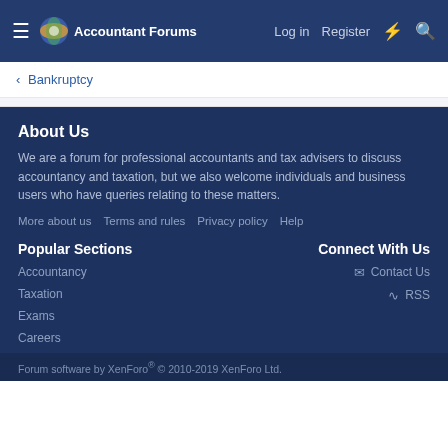Accountant Forums — Log in | Register
< Bankruptcy
About Us
We are a forum for professional accountants and tax advisers to discuss accountancy and taxation, but we also welcome individuals and business users who have queries relating to these matters.
More about us
Terms and rules
Privacy policy
Help
Popular Sections
Accountancy
Taxation
Exams
Careers
Connect With Us
Contact Us
RSS
Forum software by XenForo® © 2010-2019 XenForo Ltd.